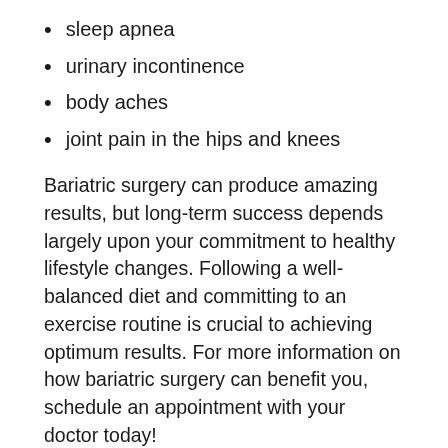sleep apnea
urinary incontinence
body aches
joint pain in the hips and knees
Bariatric surgery can produce amazing results, but long-term success depends largely upon your commitment to healthy lifestyle changes. Following a well-balanced diet and committing to an exercise routine is crucial to achieving optimum results. For more information on how bariatric surgery can benefit you, schedule an appointment with your doctor today!